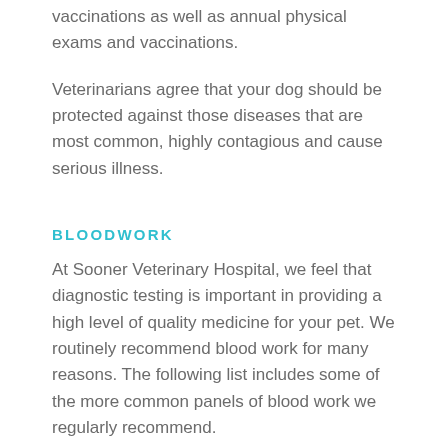vaccinations as well as annual physical exams and vaccinations.
Veterinarians agree that your dog should be protected against those diseases that are most common, highly contagious and cause serious illness.
BLOODWORK
At Sooner Veterinary Hospital, we feel that diagnostic testing is important in providing a high level of quality medicine for your pet. We routinely recommend blood work for many reasons. The following list includes some of the more common panels of blood work we regularly recommend.